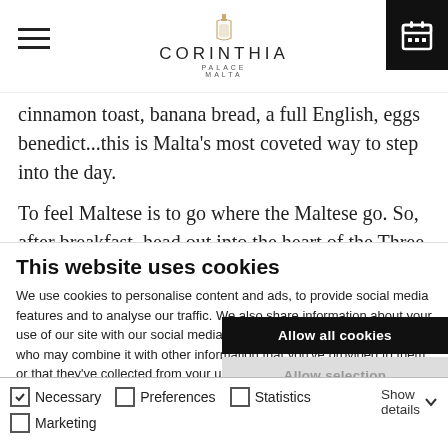CORINTHIA PALACE MALTA
cinnamon toast, banana bread, a full English, eggs benedict...this is Malta's most coveted way to step into the day.
To feel Maltese is to go where the Maltese go. So, after breakfast, head out into the heart of the Three Villages. Stroll through the magnificent San Anton Gardens to follow in the
This website uses cookies
We use cookies to personalise content and ads, to provide social media features and to analyse our traffic. We also share information about your use of our site with our social media, advertising and analytics partners who may combine it with other information that you've provided to them or that they've collected from your use of their services.
Allow all cookies
Allow selection
Use necessary cookies only
Necessary  Preferences  Statistics  Marketing  Show details